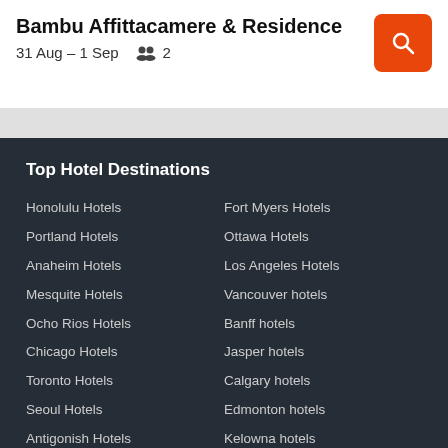Bambu Affittacamere & Residence
31 Aug – 1 Sep   2
Top Hotel Destinations
Honolulu Hotels
Portland Hotels
Anaheim Hotels
Mesquite Hotels
Ocho Rios Hotels
Chicago Hotels
Toronto Hotels
Seoul Hotels
Antigonish Hotels
New York Hotels
Fort Myers Hotels
Ottawa Hotels
Los Angeles Hotels
Vancouver hotels
Banff hotels
Jasper hotels
Calgary hotels
Edmonton hotels
Kelowna hotels